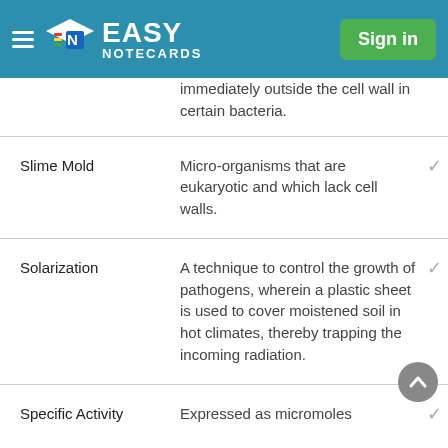Easy Notecards | Sign in
immediately outside the cell wall in certain bacteria.
| Term | Definition |
| --- | --- |
| Slime Mold | Micro-organisms that are eukaryotic and which lack cell walls. |
| Solarization | A technique to control the growth of pathogens, wherein a plastic sheet is used to cover moistened soil in hot climates, thereby trapping the incoming radiation. |
| Specific Activity | Expressed as micromoles |